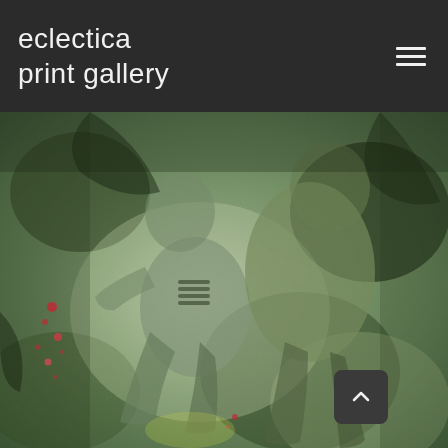eclectica print gallery
[Figure (photo): A painterly print artwork showing abstract human figures in muted green and grey tones with red accent marks, figures appear intertwined or embracing, textured surface resembling an etching or monotype print]